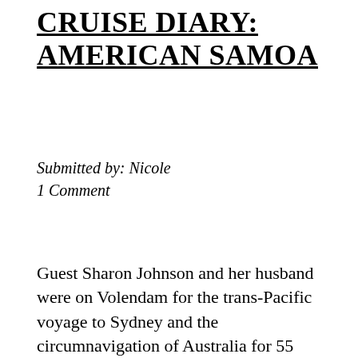CRUISE DIARY: AMERICAN SAMOA
Submitted by: Nicole
1 Comment
Guest Sharon Johnson and her husband were on Volendam for the trans-Pacific voyage to Sydney and the circumnavigation of Australia for 55 days. Enjoy this post and photos from their call at American Samoa. When the Volendam docked in American Samoa we took a tour called “A Taste of Samoan Village Life” which